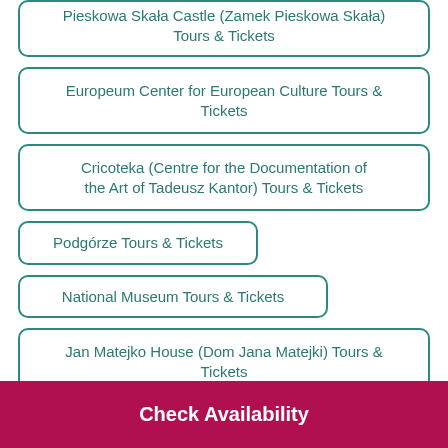Pieskowa Skała Castle (Zamek Pieskowa Skała) Tours & Tickets
Europeum Center for European Culture Tours & Tickets
Cricoteka (Centre for the Documentation of the Art of Tadeusz Kantor) Tours & Tickets
Podgórze Tours & Tickets
National Museum Tours & Tickets
Jan Matejko House (Dom Jana Matejki) Tours & Tickets
(partial item cut off)
Check Availability